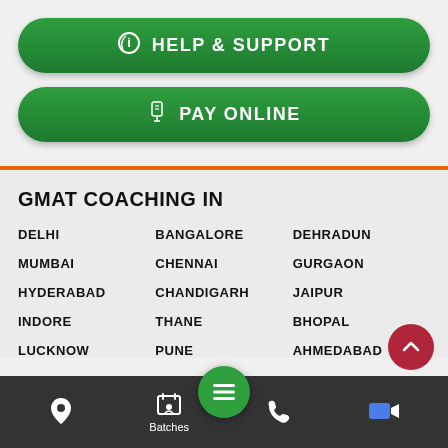[Figure (screenshot): Green rounded button with phone/info icon and text HELP & SUPPORT]
[Figure (screenshot): Green rounded button with hand/payment icon and text PAY ONLINE]
GMAT COACHING IN
DELHI
BANGALORE
DEHRADUN
MUMBAI
CHENNAI
GURGAON
HYDERABAD
CHANDIGARH
JAIPUR
INDORE
THANE
BHOPAL
LUCKNOW
PUNE
AHMEDABAD